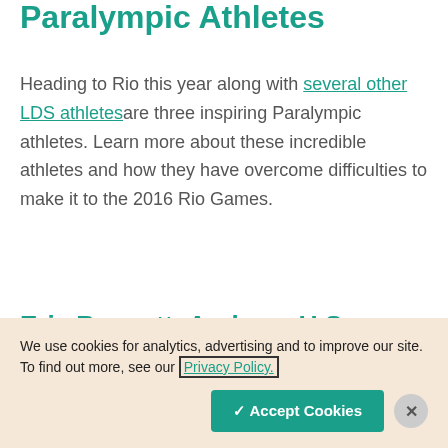Paralympic Athletes
Heading to Rio this year along with several other LDS athletes are three inspiring Paralympic athletes. Learn more about these incredible athletes and how they have overcome difficulties to make it to the 2016 Rio Games.
Eric Bennett: Archery, U.S.
We use cookies for analytics, advertising and to improve our site. To find out more, see our Privacy Policy.